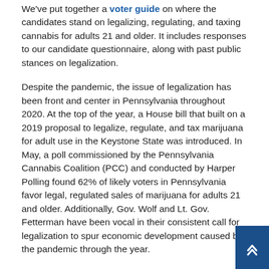We've put together a voter guide on where the candidates stand on legalizing, regulating, and taxing cannabis for adults 21 and older. It includes responses to our candidate questionnaire, along with past public stances on legalization.
Despite the pandemic, the issue of legalization has been front and center in Pennsylvania throughout 2020. At the top of the year, a House bill that built on a 2019 proposal to legalize, regulate, and tax marijuana for adult use in the Keystone State was introduced. In May, a poll commissioned by the Pennsylvania Cannabis Coalition (PCC) and conducted by Harper Polling found 62% of likely voters in Pennsylvania favor legal, regulated sales of marijuana for adults 21 and older. Additionally, Gov. Wolf and Lt. Gov. Fetterman have been vocal in their consistent call for legalization to spur economic development caused by the pandemic throughout the year.